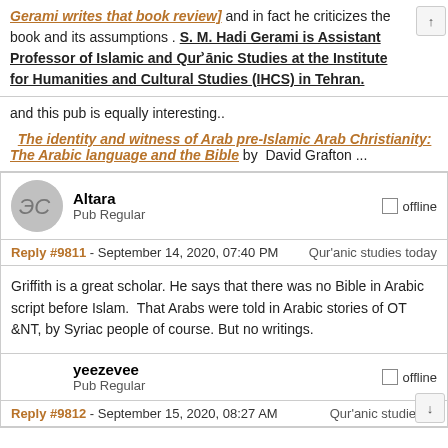[Gerami writes that book review] and in fact he criticizes the book and its assumptions . S. M. Hadi Gerami is Assistant Professor of Islamic and Qurʾānic Studies at the Institute for Humanities and Cultural Studies (IHCS) in Tehran.
and this pub is equally interesting..
The identity and witness of Arab pre-Islamic Arab Christianity: The Arabic language and the Bible by David Grafton ...
Altara
Pub Regular
offline
Reply #9811 - September 14, 2020, 07:40 PM  Qur'anic studies today
Griffith is a great scholar. He says that there was no Bible in Arabic script before Islam.  That Arabs were told in Arabic stories of OT &NT, by Syriac people of course. But no writings.
yeezevee
Pub Regular
offline
Reply #9812 - September 15, 2020, 08:27 AM  Qur'anic studies to